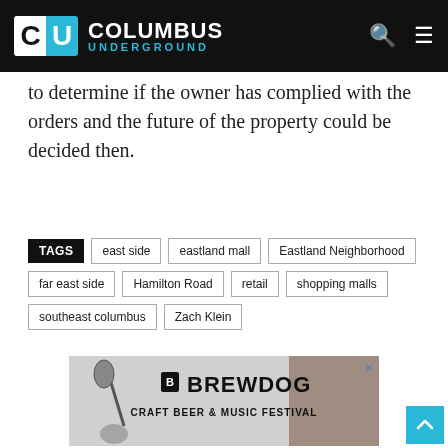Columbus Underground
to determine if the owner has complied with the orders and the future of the property could be decided then.
TAGS: east side, eastland mall, Eastland Neighborhood, far east side, Hamilton Road, retail, shopping malls, southeast columbus, Zach Klein
ADVERTISEMENT
[Figure (other): BrewDog Craft Beer & Music Festival advertisement banner with microphone and guitar imagery]